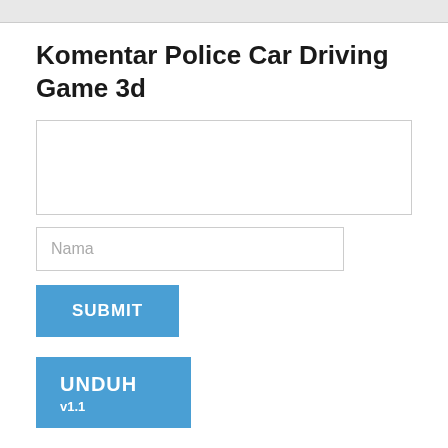Komentar Police Car Driving Game 3d
[Figure (other): Comment text area input box]
[Figure (other): Name input field with placeholder 'Nama']
[Figure (other): SUBMIT button in blue]
[Figure (other): UNDUH v1.1 download button in blue]
TERBAIK ADVENTURE APLIKASI
Lihat Terbaik untuk Adventure Aplikasi untuk Android di bulan